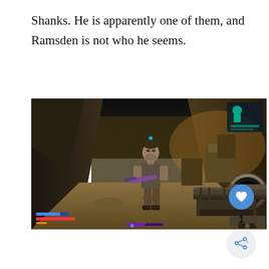Shanks. He is apparently one of them, and Ramsden is not who he seems.
[Figure (screenshot): Video game screenshot from a first-person shooter (likely Borderlands 3) showing a male character in a sleeveless shirt holding a purple weapon, standing in an industrial/underground environment. A large sniper rifle scope is visible in the foreground right. HUD elements include health bars at the bottom left and a small character icon in the top right corner.]
[Figure (other): UI elements: a blue circular like/heart button, a count of 1, and a grey circular share button with an arrow icon.]